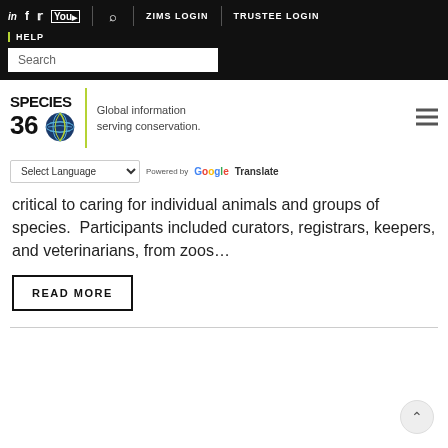in f twitter youtube | search | ZIMS LOGIN | TRUSTEE LOGIN | HELP | Search
[Figure (logo): Species360 logo with globe icon and tagline 'Global information serving conservation.']
Select Language | Powered by Google Translate
critical to caring for individual animals and groups of species.  Participants included curators, registrars, keepers, and veterinarians, from zoos…
READ MORE